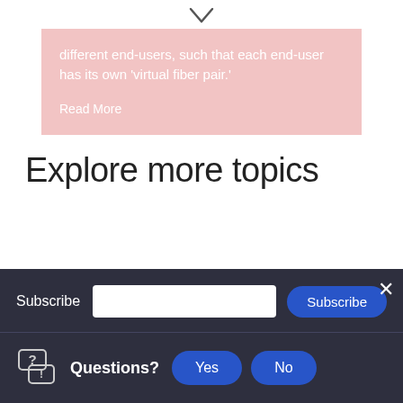[Figure (other): Chevron/down arrow icon at top center]
different end-users, such that each end-user has its own 'virtual fiber pair.'
Read More
Explore more topics
Subscribe
× (close button)
Questions?
Yes
No